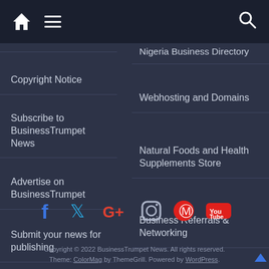Navigation bar with home icon, menu icon, and search icon
Copyright Notice
Subscribe to BusinessTrumpet News
Advertise on BusinessTrumpet
Submit your news for publishing
Nigeria Business Directory
Webhosting and Domains
Natural Foods and Health Supplements Store
Business Referrals & Networking
[Figure (infographic): Social media icons row: Facebook (blue), Twitter (blue), Google+ (red/orange), Instagram (outline), Pinterest (red), YouTube (red)]
Copyright © 2022 BusinessTrumpet News. All rights reserved. Theme: ColorMag by ThemeGrill. Powered by WordPress.